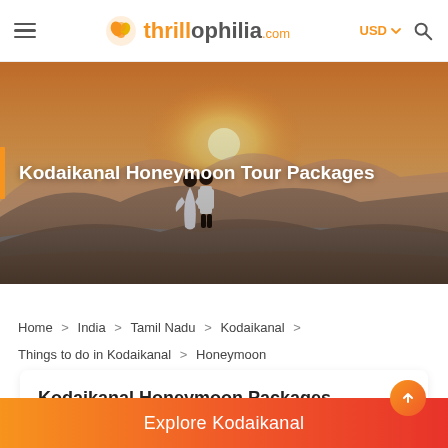thrillophilia.com — USD — Search
[Figure (photo): Hero image of a couple standing on a hilltop overlooking a scenic valley with mountains and a lake at sunset. A golden-orange sun glows on the horizon. White text overlay reads: Kodaikanal Honeymoon Tour Packages with an orange vertical accent bar on the left.]
Kodaikanal Honeymoon Tour Packages
Home > India > Tamil Nadu > Kodaikanal > Things to do in Kodaikanal > Honeymoon
Kodaikanal Honeymoon Packages
Explore Kodaikanal